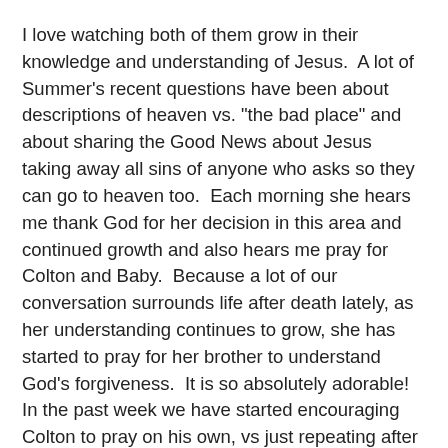I love watching both of them grow in their knowledge and understanding of Jesus.  A lot of Summer's recent questions have been about descriptions of heaven vs. "the bad place" and about sharing the Good News about Jesus taking away all sins of anyone who asks so they can go to heaven too.  Each morning she hears me thank God for her decision in this area and continued growth and also hears me pray for Colton and Baby.  Because a lot of our conversation surrounds life after death lately, as her understanding continues to grow, she has started to pray for her brother to understand God's forgiveness.  It is so absolutely adorable!  In the past week we have started encouraging Colton to pray on his own, vs just repeating after us, when it is his turn to pray.  He knows that prayers start with "Dear God" and end with "Amen" and have some "thank you's" in the middle, so we are transitioning him to pick which "thank you's" he will put inside his prayer :).
I will end with this video of the kids playing basketball in the basement, as it is (most often for Colton) a common occurrence.    Colton will go play in the basement even if